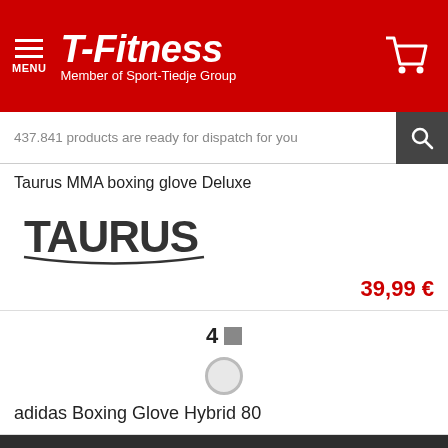T-Fitness – Member of Sport-Tiedje Group
437.841 products are ready for dispatch for you
Taurus MMA boxing glove Deluxe
[Figure (logo): TAURUS brand logo in dark grey bold arched text]
39,99 €
4
adidas Boxing Glove Hybrid 80
We collect and process your personal information for the following purposes: Marketing, Analytics.
Decline
Accept all
Customize...